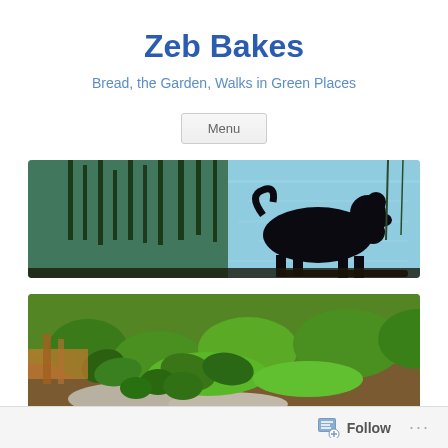Zeb Bakes
Bread, the Garden, Walks in Green Places
Menu
[Figure (photo): Silhouette of a poodle dog standing in tall grass beside a blue lake or river, with rippling water in the background.]
[Figure (photo): Close-up ground-level view of green garden plants and low leafy ground cover with soil and small stones visible.]
Follow ...